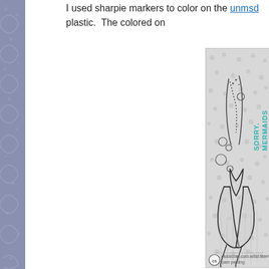I used sharpie markers to color on the unmsd plastic.  The colored on
[Figure (photo): A clear acrylic stamp showing a mermaid tail with bubbles on a polka-dot background. Text on the stamp reads 'SORRY. MERMAIDS ONLY.' in teal/turquoise color. The stamp has a Club Scrap watermark at the bottom reading 'clubscrap.com artist team pam peeling'.]